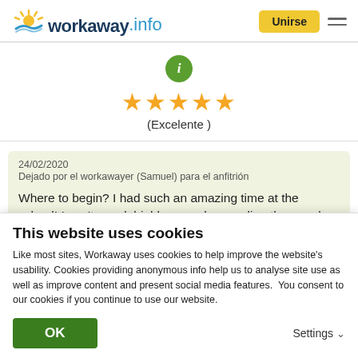workaway.info | Unirse
[Figure (other): Green circle info icon]
★★★★★ (Excelente )
24/02/2020
Dejado por el workawayer (Samuel) para el anfitrión

Where to begin? I had such an amazing time at the school! I can't speak highly enough regarding the people here. This was my second workaway experience and I'm afraid I wont
This website uses cookies
Like most sites, Workaway uses cookies to help improve the website's usability. Cookies providing anonymous info help us to analyse site use as well as improve content and present social media features.  You consent to our cookies if you continue to use our website.
OK | Settings